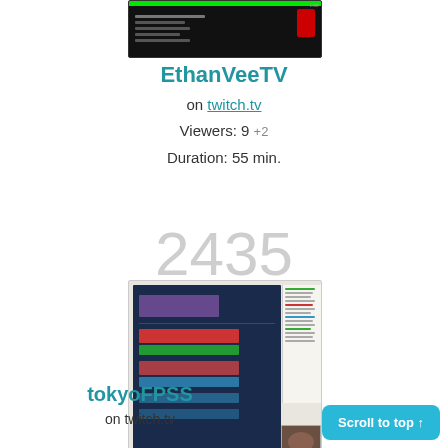[Figure (screenshot): Twitch stream thumbnail for EthanVeeTV showing a dark game scoreboard with green bar at top and red graphic element]
EthanVeeTV
on twitch.tv
Viewers: 9 +2
Duration: 55 min.
2435
[Figure (screenshot): Twitch stream thumbnail for tokyoFPSS showing a game interface with red/green elements, sidebar chat, webcam of person, and colored buttons]
tokyoFPSS
on twitch.tv
Scroll to top ↑